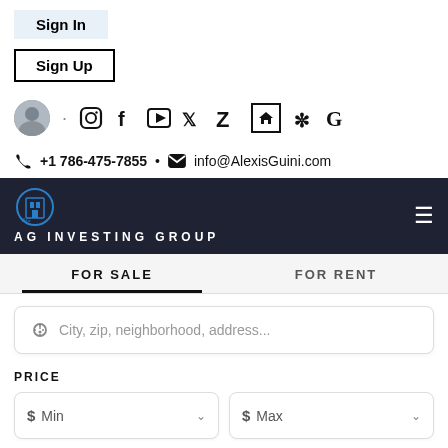Sign In
Sign Up
[Figure (infographic): Social media icons row: avatar photo, dot, Instagram, Facebook, YouTube, Twitter, Zillow, house icon, Yelp, Google]
+1 786-475-7855 • info@AlexisGuini.com
[Figure (logo): AG Investing Group logo with building icon on dark navy background, navigation bar with hamburger menu]
AG INVESTING GROUP
FOR SALE
FOR RENT
City, zip, neighborhood, address...
PRICE
$ Min
$ Max